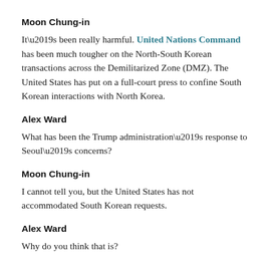Moon Chung-in
It’s been really harmful. United Nations Command has been much tougher on the North-South Korean transactions across the Demilitarized Zone (DMZ). The United States has put on a full-court press to confine South Korean interactions with North Korea.
Alex Ward
What has been the Trump administration’s response to Seoul’s concerns?
Moon Chung-in
I cannot tell you, but the United States has not accommodated South Korean requests.
Alex Ward
Why do you think that is?